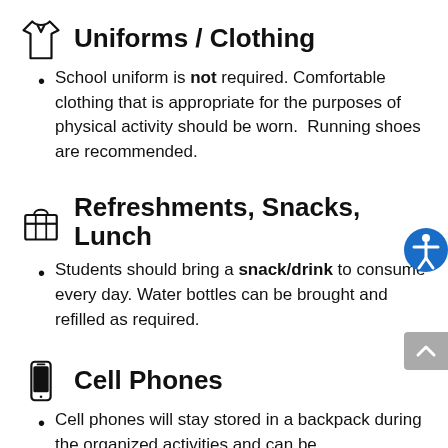Uniforms / Clothing
School uniform is not required. Comfortable clothing that is appropriate for the purposes of physical activity should be worn.  Running shoes are recommended.
Refreshments, Snacks, Lunch
Students should bring a snack/drink to consume every day. Water bottles can be brought and refilled as required.
Cell Phones
Cell phones will stay stored in a backpack during the organized activities and can be